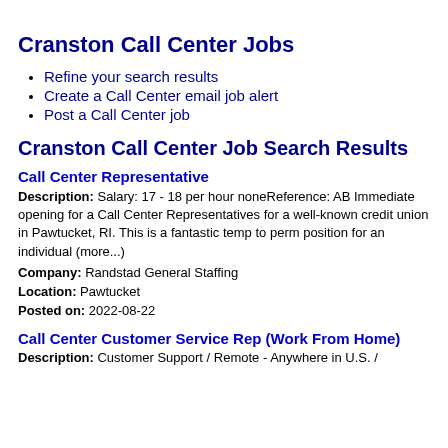Cranston Call Center Jobs
Refine your search results
Create a Call Center email job alert
Post a Call Center job
Cranston Call Center Job Search Results
Call Center Representative
Description: Salary: 17 - 18 per hour noneReference: AB Immediate opening for a Call Center Representatives for a well-known credit union in Pawtucket, RI. This is a fantastic temp to perm position for an individual (more...)
Company: Randstad General Staffing
Location: Pawtucket
Posted on: 2022-08-22
Call Center Customer Service Rep (Work From Home)
Description: Customer Support / Remote - Anywhere in U.S. /